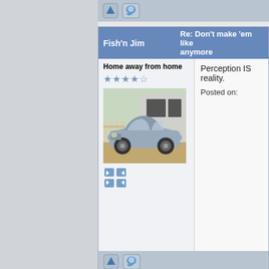[Figure (screenshot): Forum post action bar with up arrow and reply icon buttons]
Fish'n Jim
Re: Don't make 'em like anymore
Home away from home
Perception IS reality.
Posted on:
[Figure (photo): Classic vintage car, light blue/grey color, parked in front of a garage]
Board index » Discussion » General » Don't mal anymore
Top
Previous Topic
Next Topic
Register To Post